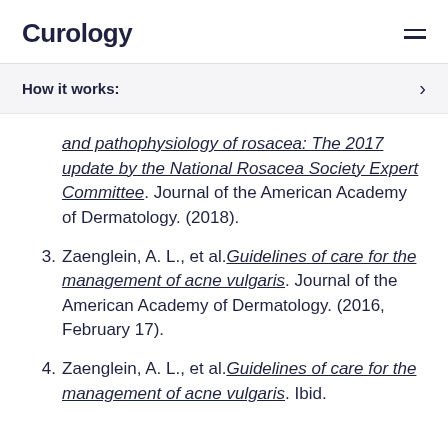Curology
How it works:
and pathophysiology of rosacea: The 2017 update by the National Rosacea Society Expert Committee. Journal of the American Academy of Dermatology. (2018).
3. Zaenglein, A. L., et al. Guidelines of care for the management of acne vulgaris. Journal of the American Academy of Dermatology. (2016, February 17).
4. Zaenglein, A. L., et al. Guidelines of care for the management of acne vulgaris. Ibid.